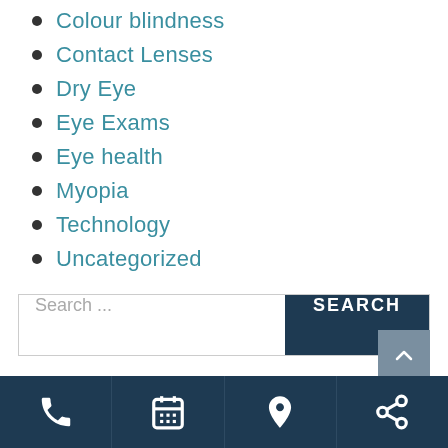Colour blindness
Contact Lenses
Dry Eye
Eye Exams
Eye health
Myopia
Technology
Uncategorized
Search ...
Phone | Calendar | Location | Share